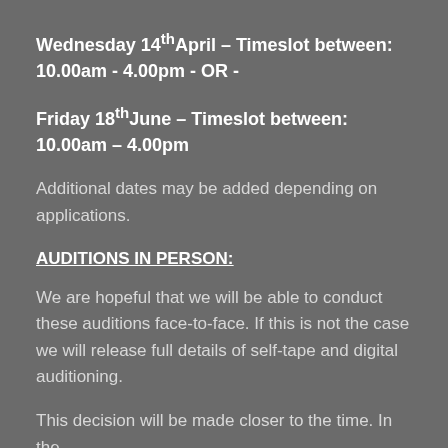Wednesday 14th April – Timeslot between: 10.00am - 4.00pm  - OR -
Friday 18th June – Timeslot between: 10.00am – 4.00pm
Additional dates may be added depending on applications.
AUDITIONS IN PERSON:
We are hopeful that we will be able to conduct these auditions face-to-face. If this is not the case we will release full details of self-tape and digital auditioning.
This decision will be made closer to the time. In the